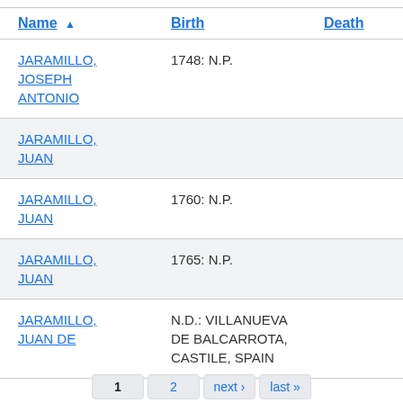| Name | Birth | Death |
| --- | --- | --- |
| JARAMILLO, JOSEPH ANTONIO | 1748: N.P. |  |
| JARAMILLO, JUAN |  |  |
| JARAMILLO, JUAN | 1760: N.P. |  |
| JARAMILLO, JUAN | 1765: N.P. |  |
| JARAMILLO, JUAN DE | N.D.: VILLANUEVA DE BALCARROTA, CASTILE, SPAIN |  |
1  2  next »  last »